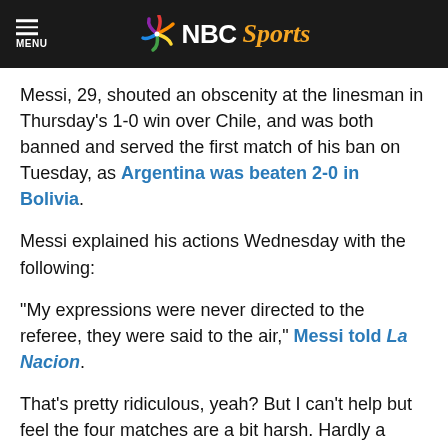NBC Sports
Messi, 29, shouted an obscenity at the linesman in Thursday's 1-0 win over Chile, and was both banned and served the first match of his ban on Tuesday, as Argentina was beaten 2-0 in Bolivia.
Messi explained his actions Wednesday with the following:
“My expressions were never directed to the referee, they were said to the air,” Messi told La Nacion.
That’s pretty ridiculous, yeah? But I can’t help but feel the four matches are a bit harsh. Hardly a high-level match goes by without seeing a player clearly being derisive toward an offical, and usually lipreading proves it wasn’t G-rated.
Again, I have no problem for setting a standard, as abuse